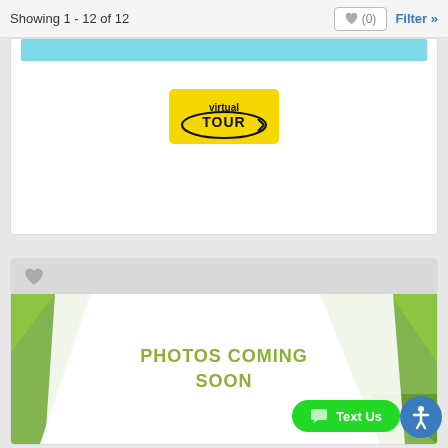Showing 1 - 12 of 12
♥ (0)
Filter »
[Figure (screenshot): Partial property listing card with a cyan/teal bar at top and a Virtual Tour badge (yellow background with arrow and text 'virtual TOUR')]
[Figure (screenshot): Property listing card with gray header containing a heart icon, and a placeholder image with green geometric triangles and text 'PHOTOS COMING SOON' in olive/yellow-green color]
PHOTOS COMING SOON
Text Us